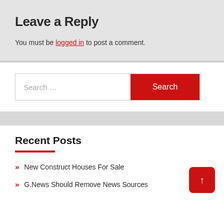Leave a Reply
You must be logged in to post a comment.
Search ...
Recent Posts
New Construct Houses For Sale
G.News Should Remove News Sources